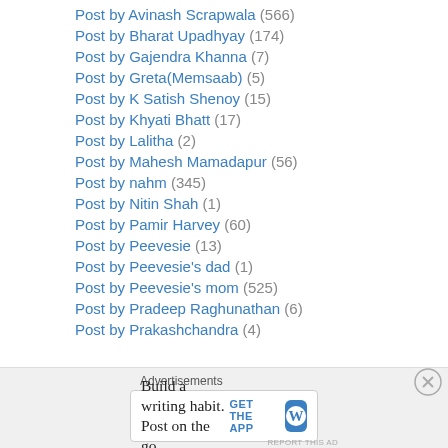Post by Avinash Scrapwala (566)
Post by Bharat Upadhyay (174)
Post by Gajendra Khanna (7)
Post by Greta(Memsaab) (5)
Post by K Satish Shenoy (15)
Post by Khyati Bhatt (17)
Post by Lalitha (2)
Post by Mahesh Mamadapur (56)
Post by nahm (345)
Post by Nitin Shah (1)
Post by Pamir Harvey (60)
Post by Peevesie (13)
Post by Peevesie's dad (1)
Post by Peevesie's mom (525)
Post by Pradeep Raghunathan (6)
Post by Prakashchandra (4)
Advertisements
Build a writing habit. Post on the go. GET THE APP